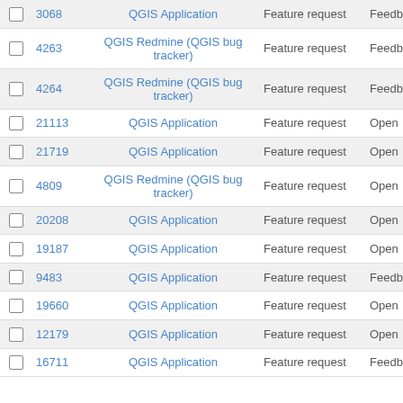|  | # | Project | Tracker | Status |
| --- | --- | --- | --- | --- |
| ☐ | 3068 | QGIS Application | Feature request | Feedback |
| ☐ | 4263 | QGIS Redmine (QGIS bug tracker) | Feature request | Feedback |
| ☐ | 4264 | QGIS Redmine (QGIS bug tracker) | Feature request | Feedback |
| ☐ | 21113 | QGIS Application | Feature request | Open |
| ☐ | 21719 | QGIS Application | Feature request | Open |
| ☐ | 4809 | QGIS Redmine (QGIS bug tracker) | Feature request | Open |
| ☐ | 20208 | QGIS Application | Feature request | Open |
| ☐ | 19187 | QGIS Application | Feature request | Open |
| ☐ | 9483 | QGIS Application | Feature request | Feedback |
| ☐ | 19660 | QGIS Application | Feature request | Open |
| ☐ | 12179 | QGIS Application | Feature request | Open |
| ☐ | 16711 | QGIS Application | Feature request | Feedback |